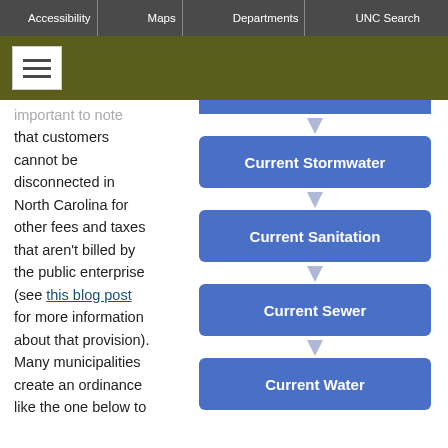Accessibility | Maps | Departments | UNC Search
[Figure (flowchart): Flowchart showing billing priority order: Current Stormwater → Current Sanitation → Current Sewer → Current Water]
important to note that customers cannot be disconnected in North Carolina for other fees and taxes that aren't billed by the public enterprise (see this blog post for more information about that provision). Many municipalities create an ordinance like the one below to